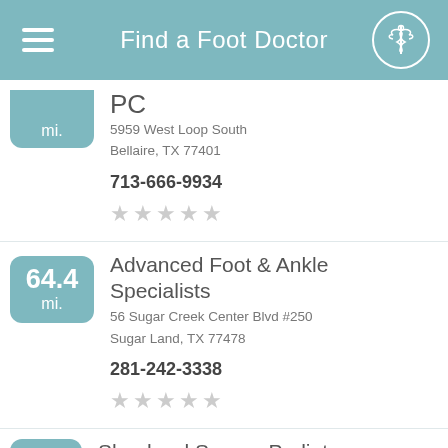Find a Foot Doctor
PC
5959 West Loop South
Bellaire, TX 77401
713-666-9934
64.4 mi.
Advanced Foot & Ankle Specialists
56 Sugar Creek Center Blvd #250
Sugar Land, TX 77478
281-242-3338
53.5
Shepherd Square Podiatry